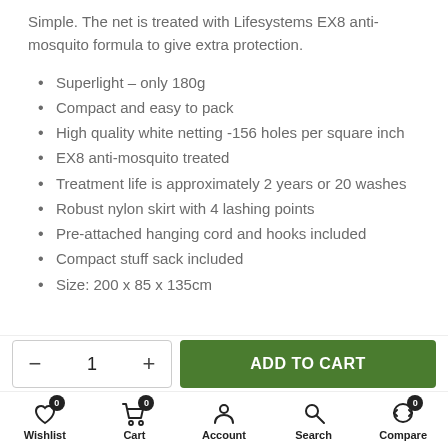Simple. The net is treated with Lifesystems EX8 anti-mosquito formula to give extra protection.
Superlight – only 180g
Compact and easy to pack
High quality white netting -156 holes per square inch
EX8 anti-mosquito treated
Treatment life is approximately 2 years or 20 washes
Robust nylon skirt with 4 lashing points
Pre-attached hanging cord and hooks included
Compact stuff sack included
Size: 200 x 85 x 135cm
Wishlist 0 | Cart 0 | Account | Search | Compare 0